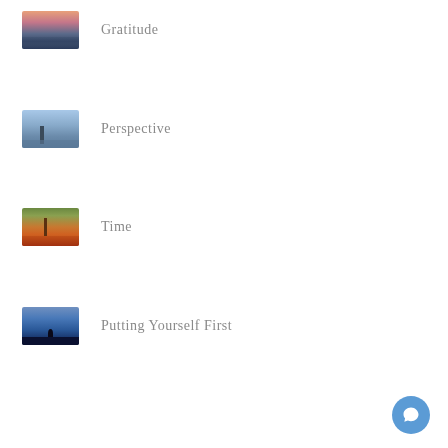[Figure (photo): Thumbnail of a sunset/water reflective landscape scene]
Gratitude
[Figure (photo): Thumbnail of a city waterfront with tall structure against blue sky]
Perspective
[Figure (photo): Thumbnail of an autumn park scene with red/orange foliage and trees]
Time
[Figure (photo): Thumbnail of a sunset scene with silhouette figure near water]
Putting Yourself First